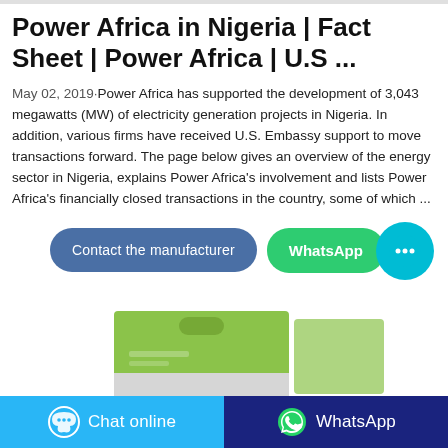Power Africa in Nigeria | Fact Sheet | Power Africa | U.S ...
May 02, 2019·Power Africa has supported the development of 3,043 megawatts (MW) of electricity generation projects in Nigeria. In addition, various firms have received U.S. Embassy support to move transactions forward. The page below gives an overview of the energy sector in Nigeria, explains Power Africa's involvement and lists Power Africa's financially closed transactions in the country, some of which ...
[Figure (screenshot): Two call-to-action buttons: 'Contact the manufacturer' (blue-gray, rounded) and 'WhatsApp' (green, rounded). A cyan floating chat bubble icon is also visible to the right.]
[Figure (photo): Partial product image showing an olive/green colored packaging box with a handle cutout at the top, partially visible at the bottom of the page.]
Chat online   WhatsApp